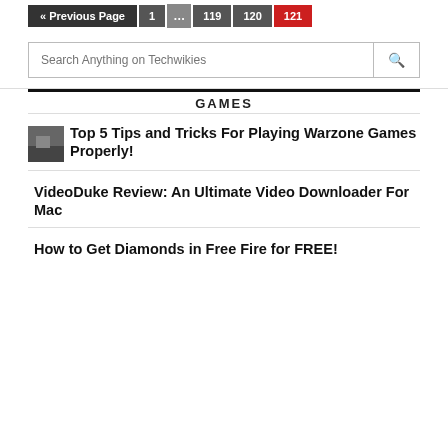« Previous Page  1  …  119  120  121
Search Anything on Techwikies
GAMES
Top 5 Tips and Tricks For Playing Warzone Games Properly!
VideoDuke Review: An Ultimate Video Downloader For Mac
How to Get Diamonds in Free Fire for FREE!